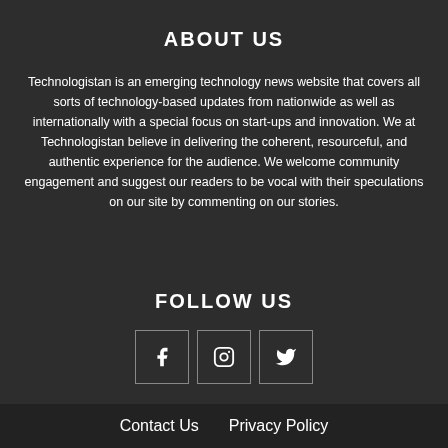ABOUT US
Technologistan is an emerging technology news website that covers all sorts of technology-based updates from nationwide as well as internationally with a special focus on start-ups and innovation. We at Technologistan believe in delivering the coherent, resourceful, and authentic experience for the audience. We welcome community engagement and suggest our readers to be vocal with their speculations on our site by commenting on our stories.
FOLLOW US
[Figure (infographic): Three social media icon buttons in bordered squares: Facebook (f), Instagram (camera icon), Twitter (bird icon)]
Contact Us   Privacy Policy